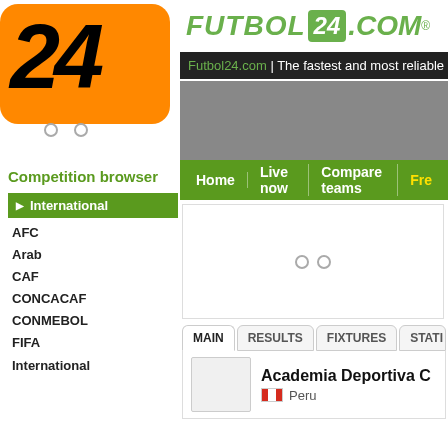[Figure (logo): Futbol24 logo — orange rounded rectangle with '24' in black bold italic numerals]
FUTBOL 24 .COM®
Futbol24.com | The fastest and most reliable LIVE...
[Figure (screenshot): Gray advertisement banner area]
Home | Live now | Compare teams | Fre...
[Figure (screenshot): Gray advertisement/content box with loading indicator dots]
Competition browser
International
AFC
Arab
CAF
CONCACAF
CONMEBOL
FIFA
International
MAIN | RESULTS | FIXTURES | STATI...
Academia Deportiva C...
Peru